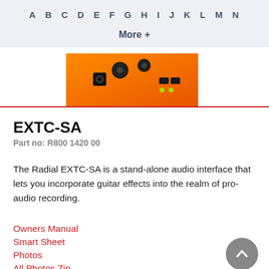A B C D E F G H I J K L M N
More +
[Figure (photo): Partial view of an orange Radial EXTC-SA audio interface device, showing knobs and connectors from above.]
EXTC-SA
Part no: R800 1420 00
The Radial EXTC-SA is a stand-alone audio interface that lets you incorporate guitar effects into the realm of pro-audio recording.
Owners Manual
Smart Sheet
Photos
All Photos Zip